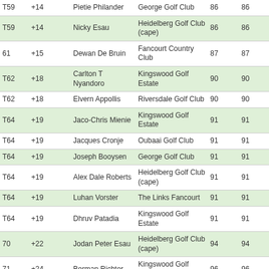| T59 | +14 |  | Pietie Philander | George Golf Club | 86 | 86 |
| T59 | +14 |  | Nicky Esau | Heidelberg Golf Club (cape) | 86 | 86 |
| 61 | +15 |  | Dewan De Bruin | Fancourt Country Club | 87 | 87 |
| T62 | +18 |  | Carlton T Nyandoro | Kingswood Golf Estate | 90 | 90 |
| T62 | +18 |  | Elvern Appollis | Riversdale Golf Club | 90 | 90 |
| T64 | +19 |  | Jaco-Chris Mienie | Kingswood Golf Estate | 91 | 91 |
| T64 | +19 |  | Jacques Cronje | Oubaai Golf Club | 91 | 91 |
| T64 | +19 |  | Joseph Booysen | George Golf Club | 91 | 91 |
| T64 | +19 |  | Alex Dale Roberts | Heidelberg Golf Club (cape) | 91 | 91 |
| T64 | +19 |  | Luhan Vorster | The Links Fancourt | 91 | 91 |
| T64 | +19 |  | Dhruv Patadia | Kingswood Golf Estate | 91 | 91 |
| 70 | +22 |  | Jodan Peter Esau | Heidelberg Golf Club (cape) | 94 | 94 |
| 71 | +24 |  | Berman Richter | Kingswood Golf Estate | 96 | 96 |
| 72 | +33 |  | Petrus van rooyen | Albertinia Golf Club | 105 | 105 |